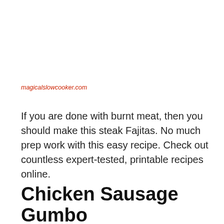magicalslowcooker.com
If you are done with burnt meat, then you should make this steak Fajitas. No much prep work with this easy recipe. Check out countless expert-tested, printable recipes online.
Chicken Sausage Gumbo